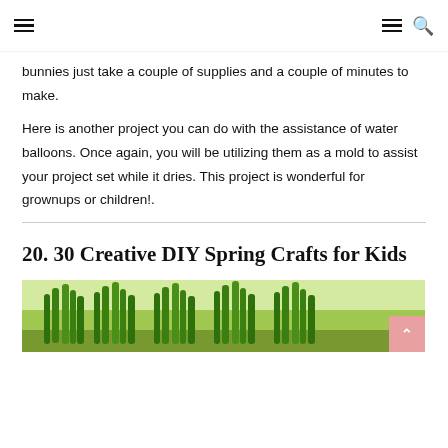Navigation header with hamburger menu icons and search icon
bunnies just take a couple of supplies and a couple of minutes to make.
Here is another project you can do with the assistance of water balloons. Once again, you will be utilizing them as a mold to assist your project set while it dries. This project is wonderful for grownups or children!.
20. 30 Creative DIY Spring Crafts for Kids
[Figure (photo): Green grass blades or spring plant craft made from pipe cleaners or similar material, shown against a light background]